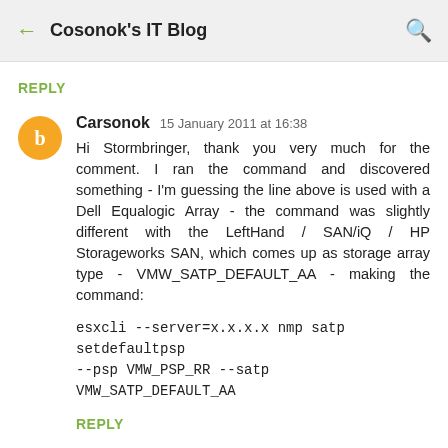← Cosonok's IT Blog 🔍
REPLY
Carsonok  15 January 2011 at 16:38
Hi Stormbringer, thank you very much for the comment. I ran the command and discovered something - I'm guessing the line above is used with a Dell Equalogic Array - the command was slightly different with the LeftHand / SAN/iQ / HP Storageworks SAN, which comes up as storage array type - VMW_SATP_DEFAULT_AA - making the command:
esxcli --server=x.x.x.x nmp satp setdefaultpsp --psp VMW_PSP_RR --satp VMW_SATP_DEFAULT_AA
REPLY
Anonymous  6 April 2012 at 09:00